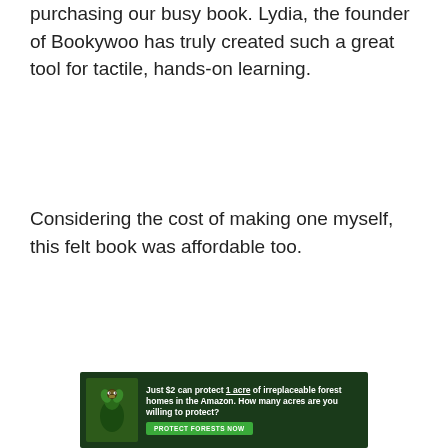purchasing our busy book. Lydia, the founder of Bookywoo has truly created such a great tool for tactile, hands-on learning.
Considering the cost of making one myself, this felt book was affordable too.
[Figure (other): Advertisement banner: dark forest background with a bird, text reading 'Just $2 can protect 1 acre of irreplaceable forest homes in the Amazon. How many acres are you willing to protect?' with a green 'PROTECT FORESTS NOW' button.]